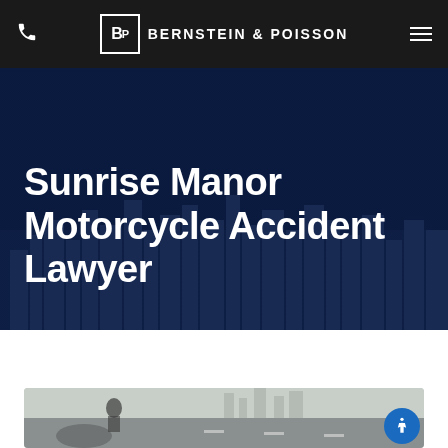Bernstein & Poisson
Sunrise Manor Motorcycle Accident Lawyer
[Figure (photo): Motorcycle accident scene viewed from inside a car, showing a motorcyclist and a road ahead with blurred background]